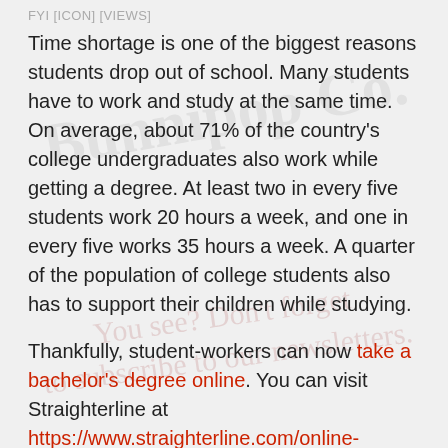FYI [ICON] [VIEWS]
Time shortage is one of the biggest reasons students drop out of school. Many students have to work and study at the same time. On average, about 71% of the country's college undergraduates also work while getting a degree. At least two in every five students work 20 hours a week, and one in every five works 35 hours a week. A quarter of the population of college students also has to support their children while studying.
Thankfully, student-workers can now take a bachelor's degree online. You can visit Straighterline at https://www.straighterline.com/online-college-courses/business/ to learn more about college courses online for credit. These online college courses allow them to work